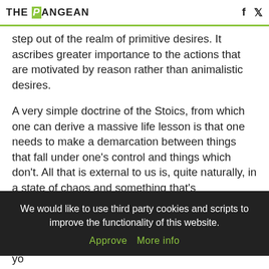THE PANGEAN [logo] [facebook] [twitter]
step out of the realm of primitive desires. It ascribes greater importance to the actions that are motivated by reason rather than animalistic desires.
A very simple doctrine of the Stoics, from which one can derive a massive life lesson is that one needs to make a demarcation between things that fall under one’s control and things which don’t. All that is external to us is, quite naturally, in a state of chaos and something that’s independent of us. We can’t impose ourselves on the mechanisms of nature
We would like to use third party cookies and scripts to improve the functionality of this website. Approve More info
Think about it. In a brief session of introspection, yo